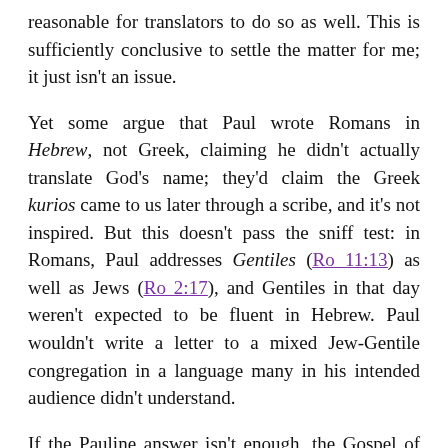reasonable for translators to do so as well. This is sufficiently conclusive to settle the matter for me; it just isn't an issue.
Yet some argue that Paul wrote Romans in Hebrew, not Greek, claiming he didn't actually translate God's name; they'd claim the Greek kurios came to us later through a scribe, and it's not inspired. But this doesn't pass the sniff test: in Romans, Paul addresses Gentiles (Ro 11:13) as well as Jews (Ro 2:17), and Gentiles in that day weren't expected to be fluent in Hebrew. Paul wouldn't write a letter to a mixed Jew-Gentile congregation in a language many in his intended audience didn't understand.
If the Pauline answer isn't enough, the Gospel of John also follows this pattern (Jn 12:38), and was clearly not written in Hebrew – within the text itself John translates common Hebrew terms for his